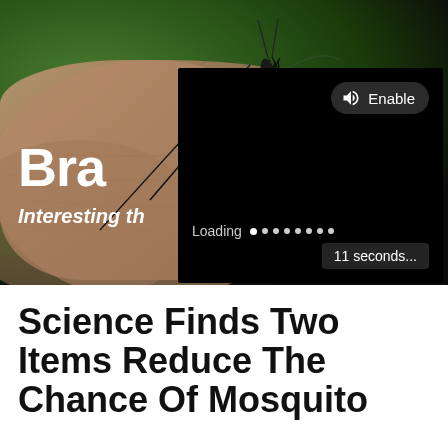[Figure (photo): Close-up macro photo of a mosquito on human skin, with green bokeh background. A video overlay is shown on top with an Enable audio button, a Loading indicator with dots, and a '11 seconds...' countdown badge.]
Science Finds Two Items Reduce The Chance Of Mosquito